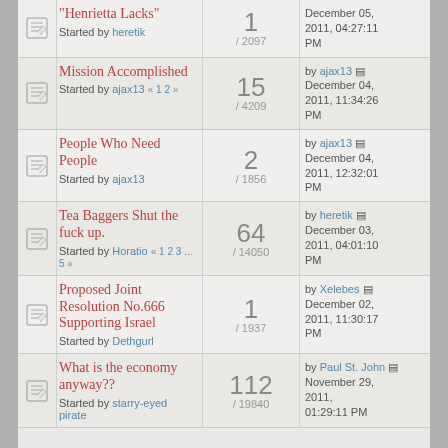"Henrietta Lacks" - Started by heretik - 1 replies / 2097 views - December 05, 2011, 04:27:11 PM
Mission Accomplished - Started by ajax13 - 15 replies / 4209 views - by ajax13 - December 04, 2011, 11:34:26 PM
People Who Need People - Started by ajax13 - 2 replies / 1856 views - by ajax13 - December 04, 2011, 12:32:01 PM
Tea Baggers Shut the fuck up. - Started by Horatio - 64 replies / 14050 views - by heretik - December 03, 2011, 04:01:10 PM
Proposed Joint Resolution No.666 Supporting Israel - Started by Dethgurl - 1 replies / 1937 views - by Xelebes - December 02, 2011, 11:30:17 PM
What is the economy anyway?? - Started by starry-eyed pirate - 112 replies / 19840 views - by Paul St. John - November 29, 2011, 01:29:11 PM